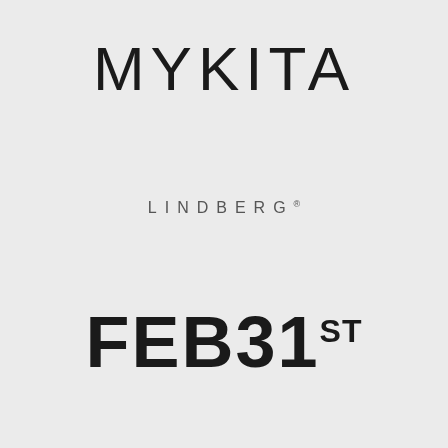[Figure (logo): MYKITA brand logo in large thin sans-serif uppercase letters]
[Figure (logo): LINDBERG brand logo in small spaced sans-serif uppercase letters with registered trademark symbol]
[Figure (logo): FEB31ST brand logo in large bold sans-serif letters with superscript ST]